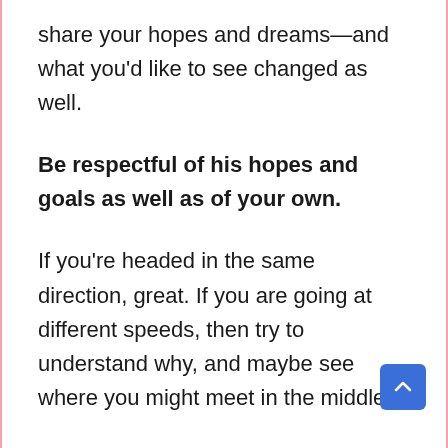share your hopes and dreams—and what you'd like to see changed as well.
Be respectful of his hopes and goals as well as of your own.
If you're headed in the same direction, great. If you are going at different speeds, then try to understand why, and maybe see where you might meet in the middle.